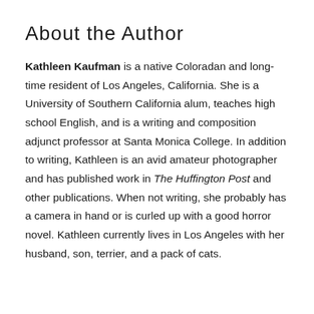About the Author
Kathleen Kaufman is a native Coloradan and long-time resident of Los Angeles, California. She is a University of Southern California alum, teaches high school English, and is a writing and composition adjunct professor at Santa Monica College. In addition to writing, Kathleen is an avid amateur photographer and has published work in The Huffington Post and other publications. When not writing, she probably has a camera in hand or is curled up with a good horror novel. Kathleen currently lives in Los Angeles with her husband, son, terrier, and a pack of cats.